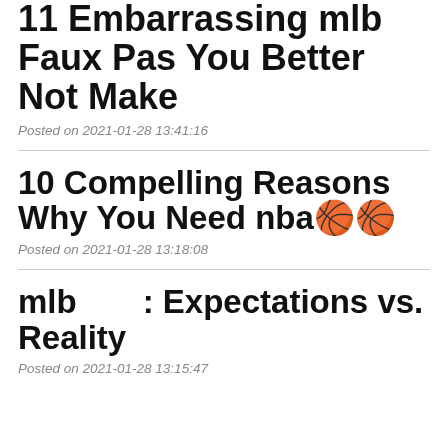11 Embarrassing mlb Faux Pas You Better Not Make
Posted on 2021-01-28 13:41:16
10 Compelling Reasons Why You Need nba🏀🏀
Posted on 2021-01-28 13:18:08
mlb　　: Expectations vs. Reality
Posted on 2021-01-28 13:15:47